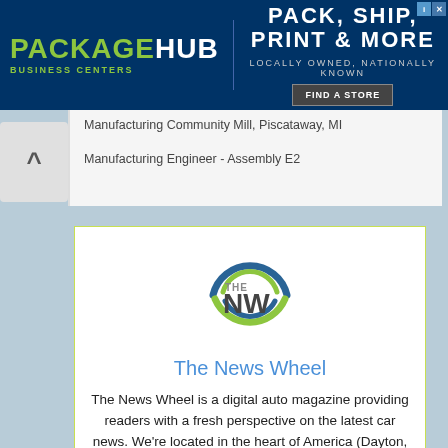[Figure (illustration): PackageHub Business Centers advertisement banner: dark blue background with PackageHub logo on left, tagline PACK, SHIP, PRINT & MORE, subtitle LOCALLY OWNED, NATIONALLY KNOWN, and FIND A STORE button on right.]
Manufacturing Community Mill, Piscataway, MI
Manufacturing Engineer - Assembly E2
[Figure (logo): The NW (The News Wheel) circular logo with green and blue swoosh arcs around NW text]
The News Wheel
The News Wheel is a digital auto magazine providing readers with a fresh perspective on the latest car news. We're located in the heart of America (Dayton, Ohio) and our